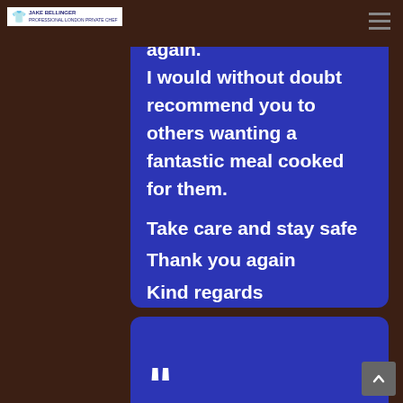Jake Bellinger — Professional London Private Chef
last, hope to see you again.
I would without doubt recommend you to others wanting a fantastic meal cooked for them.
Take care and stay safe
Thank you again
Kind regards

Jane
June 27th, 2021
[Figure (other): Opening quotation mark of a second testimonial card at the bottom of the page]